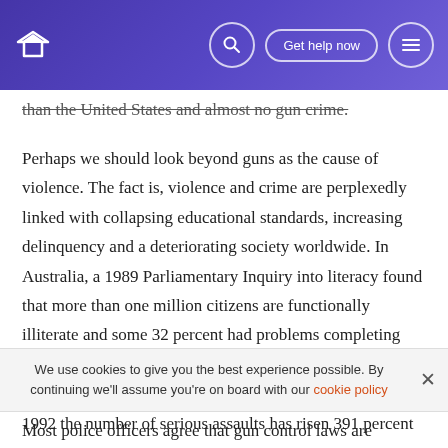[Logo] [Search] Get help now [Menu]
than the United States and almost no gun crime.
Perhaps we should look beyond guns as the cause of violence. The fact is, violence and crime are perplexedly linked with collapsing educational standards, increasing delinquency and a deteriorating society worldwide. In Australia, a 1989 Parliamentary Inquiry into literacy found that more than one million citizens are functionally illiterate and some 32 percent had problems completing job histories. Corresponding with this is a crime rate that parallels other countries. Between 1973-1974 and 1991-1992 the number of serious assaults has risen 391 percent
We use cookies to give you the best experience possible. By continuing we'll assume you're on board with our cookie policy
Most police officers agree that gun control laws are